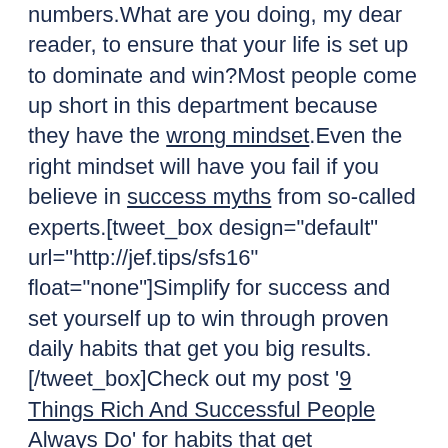numbers.What are you doing, my dear reader, to ensure that your life is set up to dominate and win?Most people come up short in this department because they have the wrong mindset.Even the right mindset will have you fail if you believe in success myths from so-called experts.[tweet_box design="default" url="http://jef.tips/sfs16" float="none"]Simplify for success and set yourself up to win through proven daily habits that get you big results.[/tweet_box]Check out my post '9 Things Rich And Successful People Always Do' for habits that get results.Highlights of these success habits include:
Daily reading
Putting yourself first